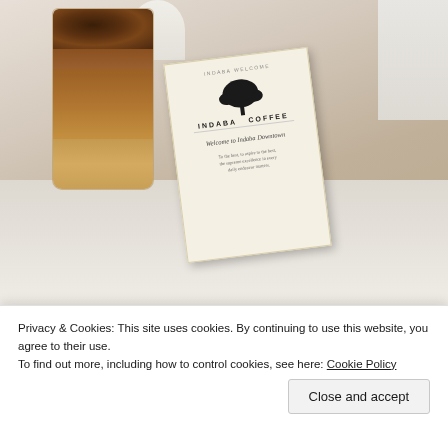[Figure (photo): Photo of an iced coffee drink in a glass tumbler on a white table surface, next to an Indaba Coffee branded menu card that reads 'Welcome to Indaba Downtown' with a tree logo]
Privacy & Cookies: This site uses cookies. By continuing to use this website, you agree to their use.
To find out more, including how to control cookies, see here: Cookie Policy
Close and accept